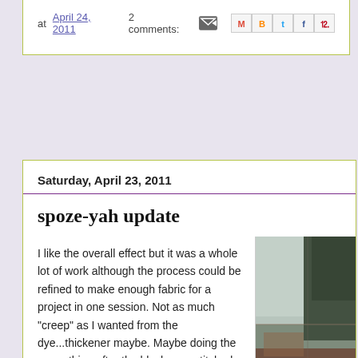at April 24, 2011   2 comments:
Saturday, April 23, 2011
spoze-yah update
I like the overall effect but it was a whole lot of work although the process could be refined to make enough fabric for a project in one session. Not as much "creep" as I wanted from the dye...thickener maybe. Maybe doing the creep thing after the blocks are stitched together and wet with soda ash. More trials to come.
[Figure (photo): Photograph of dyed fabric blocks in muted blue, green, and brown tones arranged in a geometric pattern]